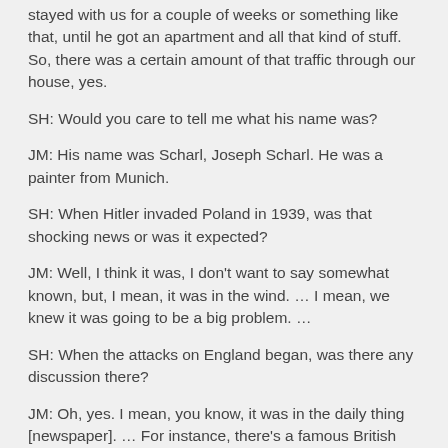stayed with us for a couple of weeks or something like that, until he got an apartment and all that kind of stuff. So, there was a certain amount of that traffic through our house, yes.
SH:  Would you care to tell me what his name was?
JM:  His name was Scharl, Joseph Scharl.  He was a painter from Munich.
SH:  When Hitler invaded Poland in 1939, was that shocking news or was it expected?
JM:  Well, I think it was, I don't want to say somewhat known, but, I mean, it was in the wind.  … I mean, we knew it was going to be a big problem.  …
SH:  When the attacks on England began, was there any discussion there?
JM:  Oh, yes.  I mean, you know, it was in the daily thing [newspaper].  … For instance, there's a famous British composer by the name of Benjamin Britten.  He came to